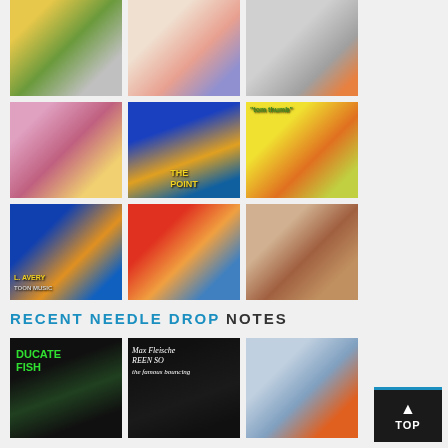[Figure (photo): 3x3 grid of album/media cover images including animated characters, cartoon artwork, and portraits]
RECENT NEEDLE DROP NOTES
[Figure (photo): Row of three more album/media cover thumbnails at bottom: Ducate Fish (green text on black), Max Fleischer Screen Song bouncing ball, animated cartoon characters]